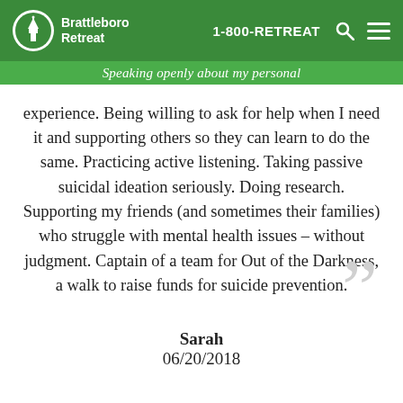Brattleboro Retreat  1-800-RETREAT
Speaking openly about my personal experience. Being willing to ask for help when I need it and supporting others so they can learn to do the same. Practicing active listening. Taking passive suicidal ideation seriously. Doing research. Supporting my friends (and sometimes their families) who struggle with mental health issues – without judgment. Captain of a team for Out of the Darkness, a walk to raise funds for suicide prevention.
Sarah
06/20/2018